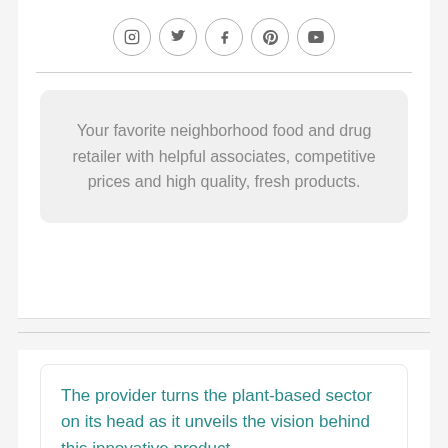[Figure (other): Row of five social media icons in circles: Instagram, Twitter, Facebook, Pinterest, YouTube]
Your favorite neighborhood food and drug retailer with helpful associates, competitive prices and high quality, fresh products.
The provider turns the plant-based sector on its head as it unveils the vision behind this innovative product…